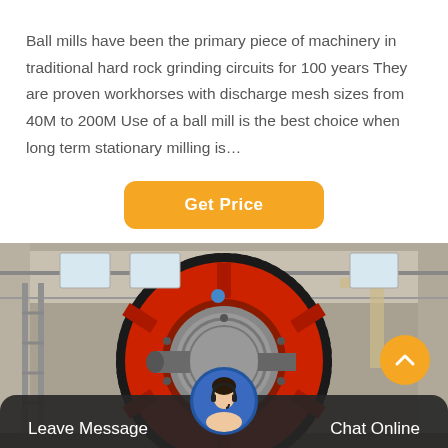Ball mills have been the primary piece of machinery in traditional hard rock grinding circuits for 100 years They are proven workhorses with discharge mesh sizes from 40M to 200M Use of a ball mill is the best choice when long term stationary milling is…
[Figure (other): Orange rounded-rectangle button labeled 'Get Price' in white bold text]
[Figure (photo): Industrial ball mill with large red gear ring and gray cylindrical drum photographed in a factory/warehouse setting. A customer service chat bar overlays the bottom with 'Leave Message' on the left, a female headset avatar in the center, 'Chat Online' on the right, and an orange scroll-up arrow button in the lower right.]